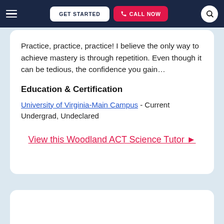GET STARTED | CALL NOW
Practice, practice, practice! I believe the only way to achieve mastery is through repetition. Even though it can be tedious, the confidence you gain…
Education & Certification
University of Virginia-Main Campus - Current Undergrad, Undeclared
View this Woodland ACT Science Tutor ▶